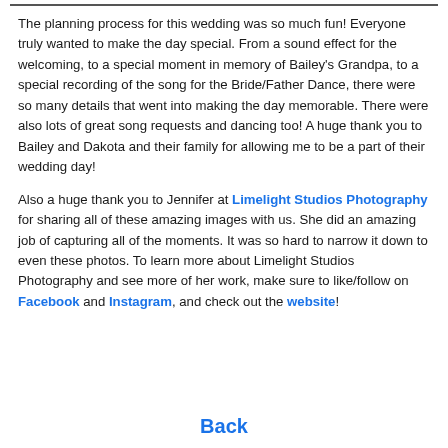The planning process for this wedding was so much fun!  Everyone truly wanted to make the day special.  From a sound effect for the welcoming, to a special moment in memory of Bailey's Grandpa, to a special recording of the song for the Bride/Father Dance, there were so many details that went into making the day memorable.  There were also lots of great song requests and dancing too!  A huge thank you to Bailey and Dakota and their family for allowing me to be a part of their wedding day!
Also a huge thank you to Jennifer at Limelight Studios Photography for sharing all of these amazing images with us.  She did an amazing job of capturing all of the moments.  It was so hard to narrow it down to even these photos.  To learn more about Limelight Studios Photography and see more of her work, make sure to like/follow on Facebook and Instagram, and check out the website!
Back